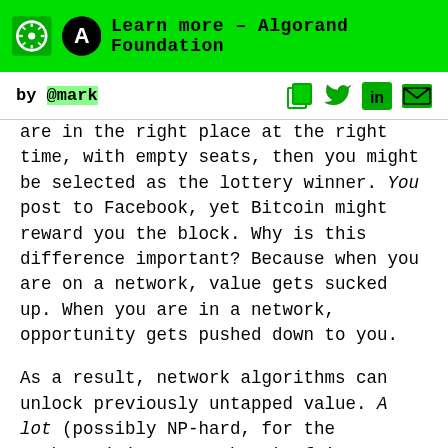Learn more – Algorand Foundation
by @mark
are in the right place at the right time, with empty seats, then you might be selected as the lottery winner. You post to Facebook, yet Bitcoin might reward you the block. Why is this difference important? Because when you are on a network, value gets sucked up. When you are in a network, opportunity gets pushed down to you.

As a result, network algorithms can unlock previously untapped value. A lot (possibly NP-hard, for the mathematicians out there) of it. Enough that it could cause a cataclysmic disruption to the foundations of